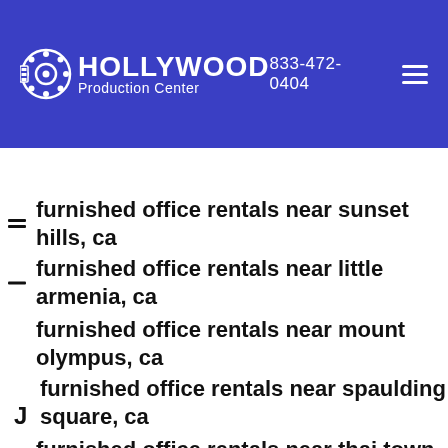[Figure (logo): Hollywood Production Center logo with film reel icon, white text on blue background, with phone number 833-472-0404 and hamburger menu]
furnished office rentals near sunset hills, ca
furnished office rentals near little armenia, ca
furnished office rentals near mount olympus, ca
furnished office rentals near spaulding square, ca
furnished office rentals near thai town, ca
furnished office rentals near sunset gower studio